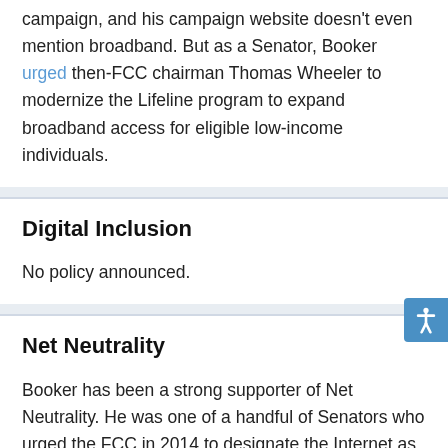campaign, and his campaign website doesn't even mention broadband. But as a Senator, Booker urged then-FCC chairman Thomas Wheeler to modernize the Lifeline program to expand broadband access for eligible low-income individuals.
Digital Inclusion
No policy announced.
Net Neutrality
Booker has been a strong supporter of Net Neutrality. He was one of a handful of Senators who urged the FCC in 2014 to designate the Internet as a Title II utility. He has been a vocal opponent of FCC Chairman Ajit Pai, and described the repeal of Net Neutrality as "reckless." He opposed the repeal of Net